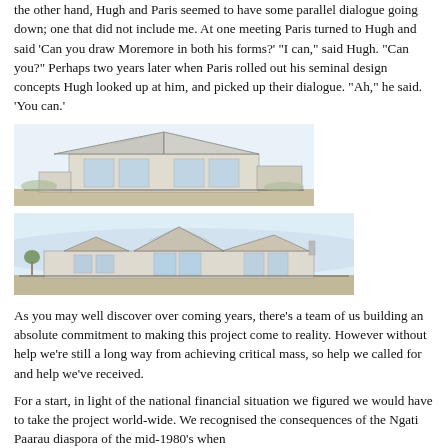the other hand, Hugh and Paris seemed to have some parallel dialogue going down; one that did not include me. At one meeting Paris turned to Hugh and said 'Can you draw Moremore in both his forms?' "I can," said Hugh. "Can you?" Perhaps two years later when Paris rolled out his seminal design concepts Hugh looked up at him, and picked up their dialogue. "Ah," he said. 'You can.'
[Figure (illustration): Two architectural sketch drawings of a building design — top view shows a modern structure with angular roof lines and glass walls set in a landscape; bottom view shows a wider perspective of the same or similar building with triangular roof forms.]
As you may well discover over coming years, there's a team of us building an absolute commitment to making this project come to reality. However without help we're still a long way from achieving critical mass, so help we called for and help we've received.
For a start, in light of the national financial situation we figured we would have to take the project world-wide. We recognised the consequences of the Ngati Paarau diaspora of the mid-1980's when